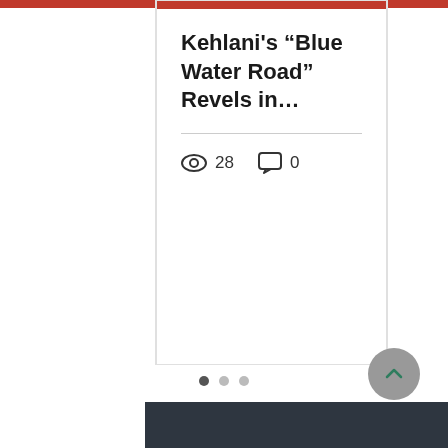Kehlani’s “Blue Water Road” Revels in…
28 views, 0 comments
[Figure (infographic): Carousel navigation dots: three circles, one darker (active) and two lighter]
[Figure (screenshot): Dark gray footer/background section with a gray circular scroll-to-top button containing an upward chevron arrow]